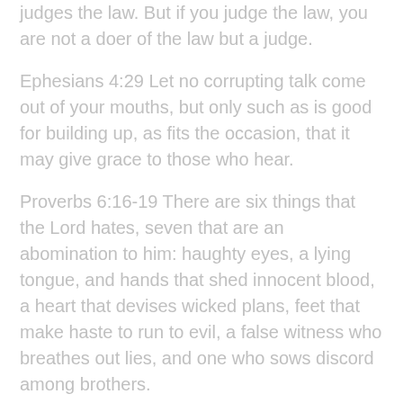judges the law. But if you judge the law, you are not a doer of the law but a judge.
Ephesians 4:29 Let no corrupting talk come out of your mouths, but only such as is good for building up, as fits the occasion, that it may give grace to those who hear.
Proverbs 6:16-19 There are six things that the Lord hates, seven that are an abomination to him: haughty eyes, a lying tongue, and hands that shed innocent blood, a heart that devises wicked plans, feet that make haste to run to evil, a false witness who breathes out lies, and one who sows discord among brothers.
Or how about:
Matthew 7:1-29 Judge not, that you be not judged